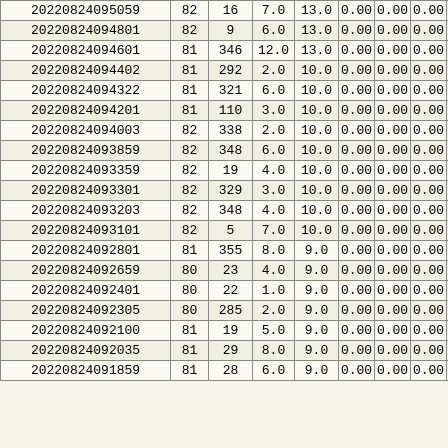| col1 | col2 | col3 | col4 | col5 | col6 | col7 | col8 | col9 |
| --- | --- | --- | --- | --- | --- | --- | --- | --- |
| 20220824095059 | 82 | 16 | 7.0 | 13.0 | 0.00 | 0.00 | 0.00 | 5 |
| 20220824094801 | 82 | 9 | 6.0 | 13.0 | 0.00 | 0.00 | 0.00 | 5 |
| 20220824094601 | 81 | 346 | 12.0 | 13.0 | 0.00 | 0.00 | 0.00 | 5 |
| 20220824094402 | 81 | 292 | 2.0 | 10.0 | 0.00 | 0.00 | 0.00 | 5 |
| 20220824094322 | 81 | 321 | 6.0 | 10.0 | 0.00 | 0.00 | 0.00 | 5 |
| 20220824094201 | 81 | 110 | 3.0 | 10.0 | 0.00 | 0.00 | 0.00 | 5 |
| 20220824094003 | 82 | 338 | 2.0 | 10.0 | 0.00 | 0.00 | 0.00 | 5 |
| 20220824093859 | 82 | 348 | 6.0 | 10.0 | 0.00 | 0.00 | 0.00 | 5 |
| 20220824093359 | 82 | 19 | 4.0 | 10.0 | 0.00 | 0.00 | 0.00 | 5 |
| 20220824093301 | 82 | 329 | 3.0 | 10.0 | 0.00 | 0.00 | 0.00 | 5 |
| 20220824093203 | 82 | 348 | 4.0 | 10.0 | 0.00 | 0.00 | 0.00 | 6 |
| 20220824093101 | 82 | 5 | 7.0 | 10.0 | 0.00 | 0.00 | 0.00 | 6 |
| 20220824092801 | 81 | 355 | 8.0 | 9.0 | 0.00 | 0.00 | 0.00 | 6 |
| 20220824092659 | 80 | 23 | 4.0 | 9.0 | 0.00 | 0.00 | 0.00 | 6 |
| 20220824092401 | 80 | 22 | 1.0 | 9.0 | 0.00 | 0.00 | 0.00 | 5 |
| 20220824092305 | 80 | 285 | 2.0 | 9.0 | 0.00 | 0.00 | 0.00 | 6 |
| 20220824092100 | 81 | 19 | 5.0 | 9.0 | 0.00 | 0.00 | 0.00 | 6 |
| 20220824092035 | 81 | 29 | 8.0 | 9.0 | 0.00 | 0.00 | 0.00 | 6 |
| 20220824091859 | 81 | 28 | 6.0 | 9.0 | 0.00 | 0.00 | 0.00 |  |